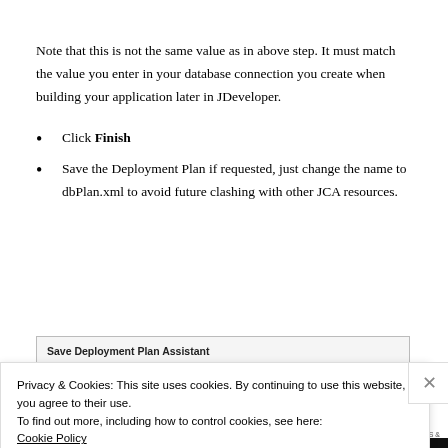Note that this is not the same value as in above step. It must match the value you enter in your database connection you create when building your application later in JDeveloper.
Click Finish
Save the Deployment Plan if requested, just change the name to dbPlan.xml to avoid future clashing with other JCA resources.
[Figure (screenshot): Save Deployment Plan Assistant dialog header bar]
Privacy & Cookies: This site uses cookies. By continuing to use this website, you agree to their use.
To find out more, including how to control cookies, see here:
Cookie Policy